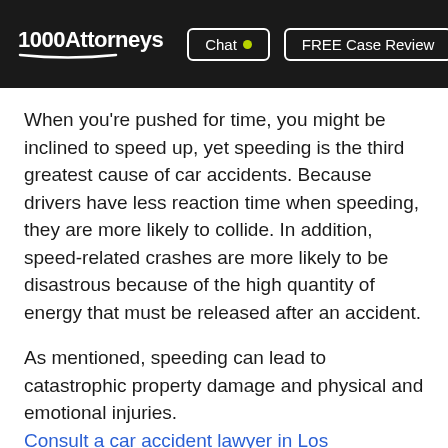1000Attorneys | Chat | FREE Case Review
When you're pushed for time, you might be inclined to speed up, yet speeding is the third greatest cause of car accidents. Because drivers have less reaction time when speeding, they are more likely to collide. In addition, speed-related crashes are more likely to be disastrous because of the high quantity of energy that must be released after an accident.
As mentioned, speeding can lead to catastrophic property damage and physical and emotional injuries. Consult a car accident lawyer in Los